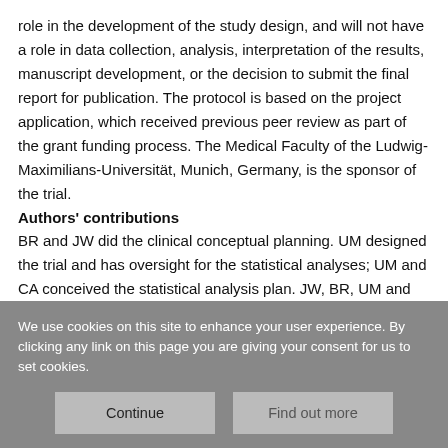role in the development of the study design, and will not have a role in data collection, analysis, interpretation of the results, manuscript development, or the decision to submit the final report for publication. The protocol is based on the project application, which received previous peer review as part of the grant funding process. The Medical Faculty of the Ludwig-Maximilians-Universität, Munich, Germany, is the sponsor of the trial.
Authors' contributions
BR and JW did the clinical conceptual planning. UM designed the trial and has oversight for the statistical analyses; UM and CA conceived the statistical analysis plan. JW, BR, UM and CA
We use cookies on this site to enhance your user experience. By clicking any link on this page you are giving your consent for us to set cookies.